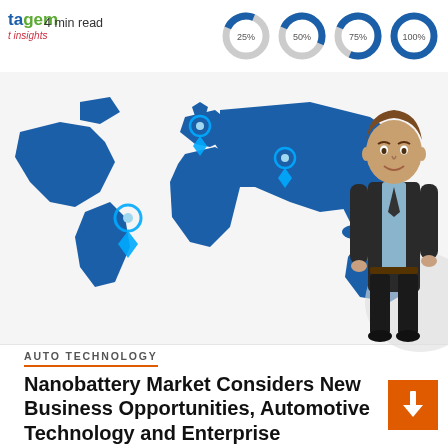[Figure (infographic): Header with tagem/t insights logo, '4 min read' text, and four donut charts labeled 25%, 50%, 75%, 100%]
[Figure (map): World map infographic in dark blue with location pin markers on Africa, Middle East/Central Asia, Australia, and two other regions]
[Figure (illustration): Cartoon avatar of a businessman in a dark suit standing to the right]
AUTO TECHNOLOGY
Nanobattery Market Considers New Business Opportunities, Automotive Technology and Enterprise Development